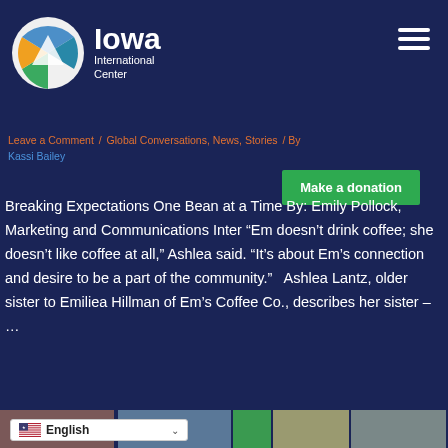[Figure (logo): Iowa International Center logo with multicolored circle and white text]
Leave a Comment / Global Conversations, News, Stories / By Kassi Bailey
Breaking Expectations One Bean at a Time By: Emily Pollock, Marketing and Communications Inter “Em doesn’t drink coffee; she doesn’t like coffee at all,” Ashlea said. “It’s about Em’s connection and desire to be a part of the community.”   Ashlea Lantz, older sister to Emiliea Hillman of Em’s Coffee Co., describes her sister – …
Read More »
[Figure (photo): Bottom strip of thumbnail photos]